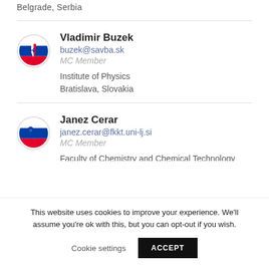Belgrade,  Serbia
Vladimir Buzek
buzek@savba.sk
MC Member

Institute of Physics
Bratislava,  Slovakia
Janez Cerar
janez.cerar@fkkt.uni-lj.si
MC Member

Faculty of Chemistry and Chemical Technology
This website uses cookies to improve your experience. We'll assume you're ok with this, but you can opt-out if you wish.

Cookie settings    ACCEPT